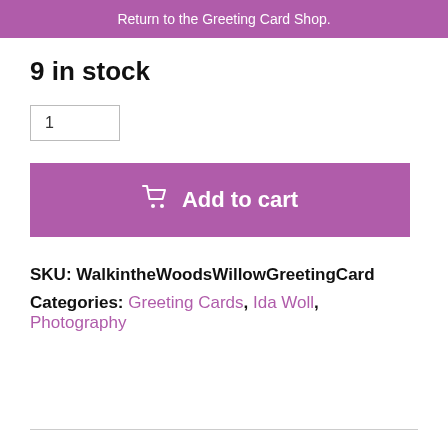Return to the Greeting Card Shop.
9 in stock
1
Add to cart
SKU: WalkintheWoodsWillowGreetingCard
Categories: Greeting Cards, Ida Woll, Photography